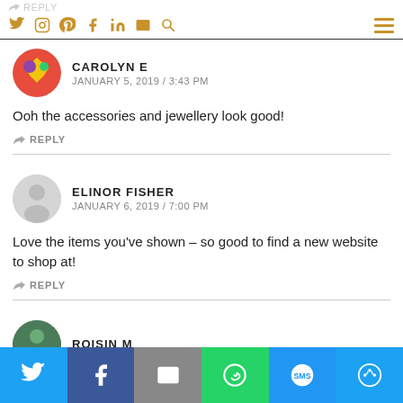REPLY (top nav with social icons)
CAROLYN E
JANUARY 5, 2019 / 3:43 PM
Ooh the accessories and jewellery look good!
REPLY
ELINOR FISHER
JANUARY 6, 2019 / 7:00 PM
Love the items you've shown – so good to find a new website to shop at!
REPLY
ROISIN M
Share bar: Twitter, Facebook, Email, WhatsApp, SMS, More